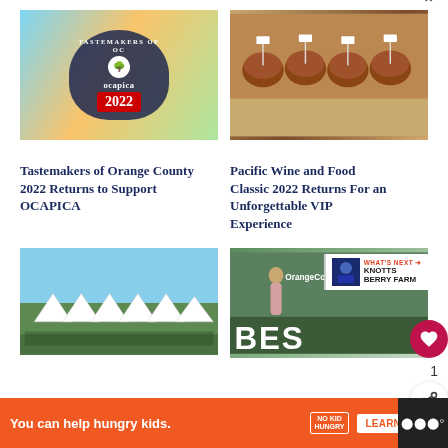[Figure (photo): Tastemakers of OC OCAPICA 2022 event badge over colorful food festival background]
[Figure (photo): Close-up of sliders/mini burgers on a serving board at Pacific Wine and Food Classic 2022]
Tastemakers of Orange County 2022 Returns to Support OCAPICA
Pacific Wine and Food Classic 2022 Returns For an Unforgettable VIP Experience
[Figure (photo): Outdoor beach festival with large white tents and crowd gathered on grass near the ocean]
[Figure (photo): Orange County Best award event with woman standing in front of BEST signage]
WHAT'S NEXT → KNOTTS BERRY FARM
1
You can help hungry kids.
NO KID HUNGRY
LEARN HOW